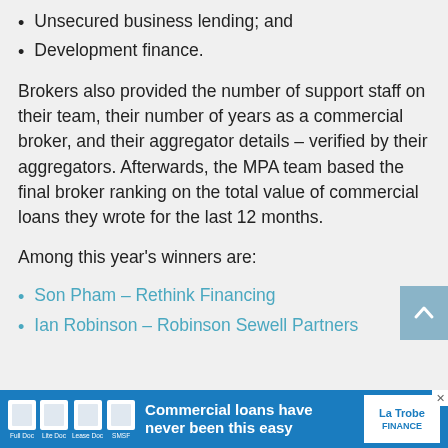Unsecured business lending; and
Development finance.
Brokers also provided the number of support staff on their team, their number of years as a commercial broker, and their aggregator details – verified by their aggregators. Afterwards, the MPA team based the final broker ranking on the total value of commercial loans they wrote for the last 12 months.
Among this year's winners are:
Son Pham – Rethink Financing
Ian Robinson – Robinson Sewell Partners
[Figure (infographic): Blue advertisement banner at the bottom: 'Commercial loans have never been this easy' with La Trobe Finance logo and document type icons (Full Doc, Lite Doc, Lease Doc, SMSF)]